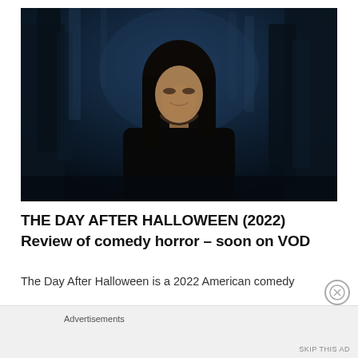[Figure (photo): A dark, atmospheric still from a horror movie showing a woman with long dark hair standing in a dark forest at night, wearing a black coat. Blue-tinted dark trees are visible in the background.]
THE DAY AFTER HALLOWEEN (2022)
Review of comedy horror – soon on VOD
The Day After Halloween is a 2022 American comedy
Advertisements